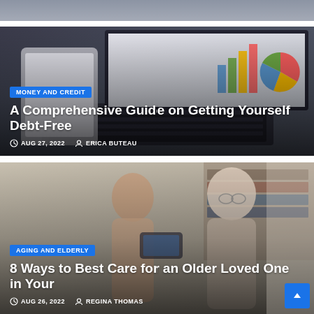[Figure (photo): Partial view of a background photo at the top of the page (cropped top strip of previous article card)]
[Figure (photo): Article card image showing a laptop with financial charts (bar chart and pie chart) on screen and a tablet device, representing a Money and Credit article]
MONEY AND CREDIT
A Comprehensive Guide on Getting Yourself Debt-Free
AUG 27, 2022   ERICA BUTEAU
[Figure (photo): Article card image showing a young woman and an older woman with glasses looking at a smartphone together, representing an Aging and Elderly article]
AGING AND ELDERLY
8 Ways to Best Care for an Older Loved One in Your
AUG 26, 2022   REGINA THOMAS